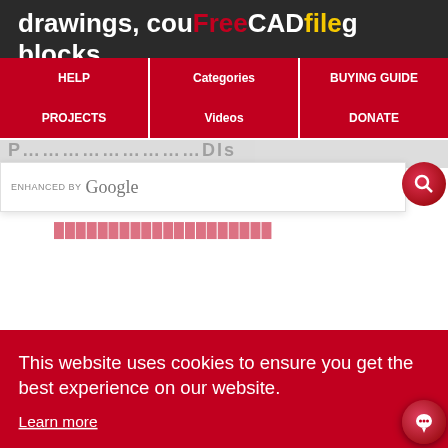drawings, cou...g blocks,
[Figure (logo): FreeCADfile logo in red navigation bar]
HELP | Categories | BUYING GUIDE
PROJECTS | Videos | DONATE
ENHANCED BY Google [search bar]
This website uses cookies to ensure you get the best experience on our website.
Learn more
Got it!
you will experience after Autodesk Aut CAD 2023 Free Download